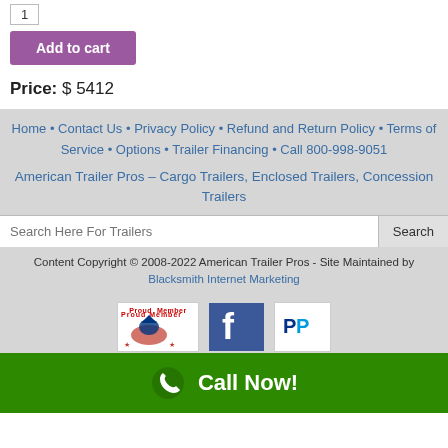1
Add to cart
Price: $ 5412
Home • Contact Us • Privacy Policy • Refund and Return Policy • Terms of Service • Options • Trailer Financing • Call 800-998-9051
American Trailer Pros – Cargo Trailers, Enclosed Trailers, Concession Trailers
Search Here For Trailers
Content Copyright © 2008-2022 American Trailer Pros - Site Maintained by Blacksmith Internet Marketing
[Figure (logo): Proud Member badge with eagle logo]
[Figure (logo): Facebook icon]
[Figure (logo): PayPal or payment icon]
Call Now!